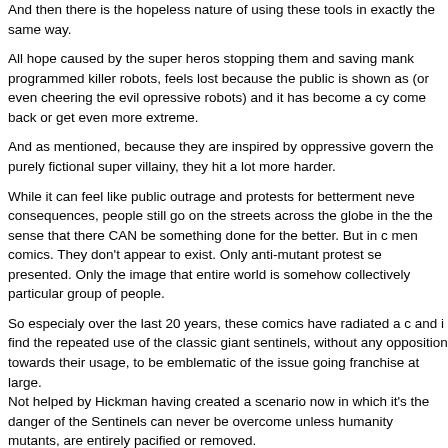And then there is the hopeless nature of using these tools in exactly the same way.
All hope caused by the super heros stopping them and saving mankind programmed killer robots, feels lost because the public is shown as (or even cheering the evil opressive robots) and it has become a cy come back or get even more extreme.
And as mentioned, because they are inspired by oppressive govern the purely fictional super villainy, they hit a lot more harder.
While it can feel like public outrage and protests for betterment neve consequences, people still go on the streets across the globe in the the sense that there CAN be something done for the better. But in c men comics. They don't appear to exist. Only anti-mutant protest se presented. Only the image that entire world is somehow collectively particular group of people.
So especialy over the last 20 years, these comics have radiated a c and i find the repeated use of the classic giant sentinels, without any opposition towards their usage, to be emblematic of the issue going franchise at large.
Not helped by Hickman having created a scenario now in which it's the danger of the Sentinels can never be overcome unless humanity mutants, are entirely pacified or removed.
So yeah, i just really dislike how the classic Sentinels look and are m original stories they were used for and the meaning of them.
IMAGE: ...